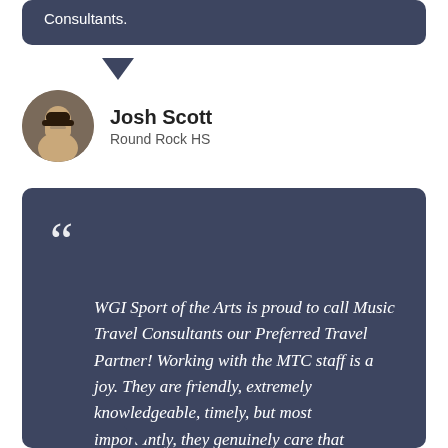Consultants.
Josh Scott
Round Rock HS
WGI Sport of the Arts is proud to call Music Travel Consultants our Preferred Travel Partner! Working with the MTC staff is a joy. They are friendly, extremely knowledgeable, timely, but most importantly, they genuinely care that students have unforgettable experiences!